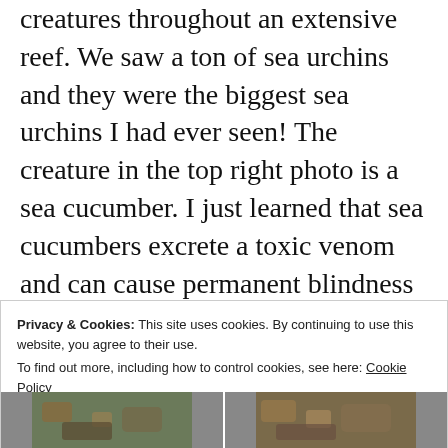creatures throughout an extensive reef. We saw a ton of sea urchins and they were the biggest sea urchins I had ever seen! The creature in the top right photo is a sea cucumber. I just learned that sea cucumbers excrete a toxic venom and can cause permanent blindness in humans if it gets in your eyes! Great…adding more to the list of things I'm terrified of in the ocean. 🤦‍♀️
Privacy & Cookies: This site uses cookies. By continuing to use this website, you agree to their use.
To find out more, including how to control cookies, see here: Cookie Policy
Close and accept
[Figure (photo): Two underwater reef photos side by side at bottom of page]